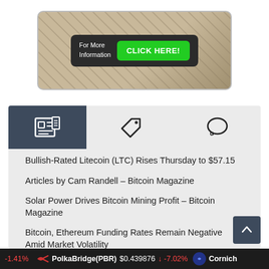[Figure (screenshot): Advertisement banner with dark box showing 'For More Information' text and a green 'CLICK HERE!' button, overlaid on an image of money/cash]
[Figure (screenshot): Navigation tab bar with three icons: newspaper/articles icon (active, dark background), price tag icon, and speech bubble/comment icon]
Bullish-Rated Litecoin (LTC) Rises Thursday to $57.15
Articles by Cam Randell – Bitcoin Magazine
Solar Power Drives Bitcoin Mining Profit – Bitcoin Magazine
Bitcoin, Ethereum Funding Rates Remain Negative Amid Market Volatility
Altcoin Roundup – What Have the Top 5 Been Up to
-1.41%   PolkaBridge(PBR)  $0.439876  ↓ -7.02%   Cornich…